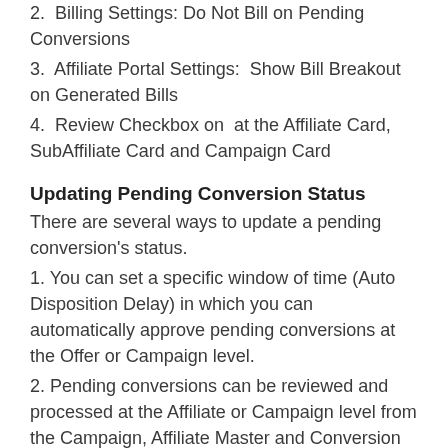2.  Billing Settings: Do Not Bill on Pending Conversions
3.  Affiliate Portal Settings:  Show Bill Breakout on Generated Bills
4.  Review Checkbox on  at the Affiliate Card, SubAffiliate Card and Campaign Card
Updating Pending Conversion Status
There are several ways to update a pending conversion's status.
1. You can set a specific window of time (Auto Disposition Delay) in which you can automatically approve pending conversions at the Offer or Campaign level.
2. Pending conversions can be reviewed and processed at the Affiliate or Campaign level from the Campaign, Affiliate Master and Conversion Reports.
3. You can use the Mass Adjustment tool from the Affiliate main tab or the Advertiser Main